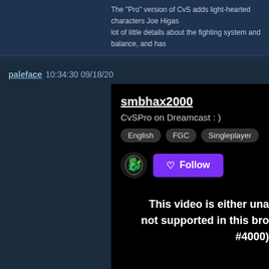The "Pro" version of CvS adds light-hearted characters Joe Higas... lot of little details about the fighting system and balance, and has...
paleface 10:34:30 09/18/20
[Figure (screenshot): Twitch stream embed showing channel smbhax2000 with stream title 'CvSPro on Dreamcast : )', tags English, FGC, Singleplayer, Follow button, and a video error message 'This video is either una... not supported in this bro... #4000)' with timecode 00:00:00]
smbhax2000
CvSPro on Dreamcast : )
English  FGC  Singleplayer
Follow
This video is either una... not supported in this bro... #4000)
00:00:00